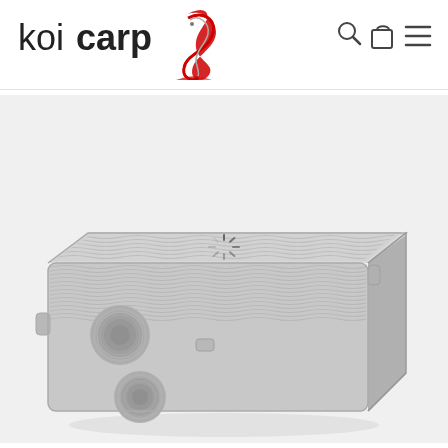[Figure (logo): Koicarp logo with stylized koi fish illustration in red/grey]
[Figure (screenshot): Navigation icons: search (magnifying glass), shopping bag, hamburger menu]
[Figure (photo): 3D render of a grey plastic box filter unit with wavy-patterned lid and two circular pipe fittings on the front face, on a light grey background]